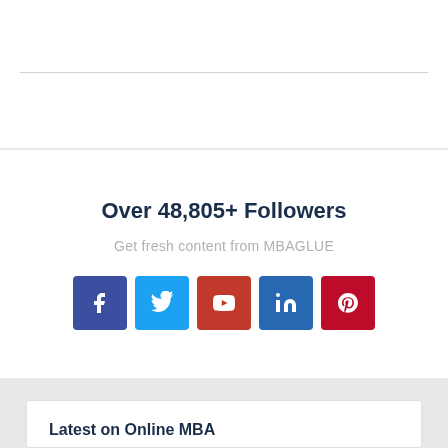Over 48,805+ Followers
Get fresh content from MBAGLUE
[Figure (other): Social media follow buttons: Facebook, Twitter, YouTube, LinkedIn, Pinterest]
Latest on Online MBA
Indiana University Online MBA Requirements (and more)
Temple University Online MBA Cost, Ranking (and more)